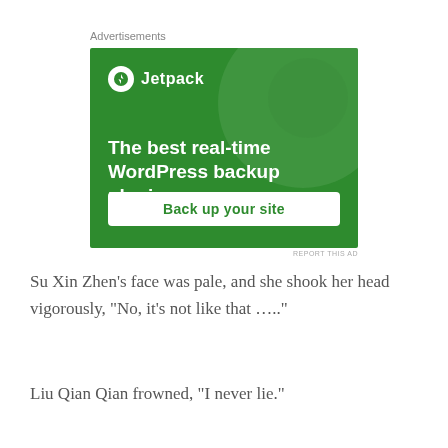Advertisements
[Figure (illustration): Jetpack advertisement banner with green background, Jetpack logo, headline 'The best real-time WordPress backup plugin', and a 'Back up your site' button]
REPORT THIS AD
Su Xin Zhen’s face was pale, and she shook her head vigorously, “No, it’s not like that …..”
Liu Qian Qian frowned, “I never lie.”